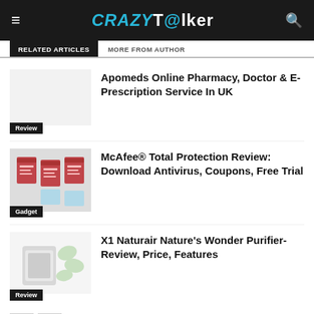CRAZY Talker
RELATED ARTICLES | MORE FROM AUTHOR
Apomeds Online Pharmacy, Doctor & E-Prescription Service In UK
Review
[Figure (screenshot): Thumbnail image for McAfee article showing antivirus product boxes]
McAfee® Total Protection Review: Download Antivirus, Coupons, Free Trial
Gadget
[Figure (photo): Thumbnail image for X1 Naturair air purifier showing device with leaf icons]
X1 Naturair Nature's Wonder Purifier-Review, Price, Features
Review